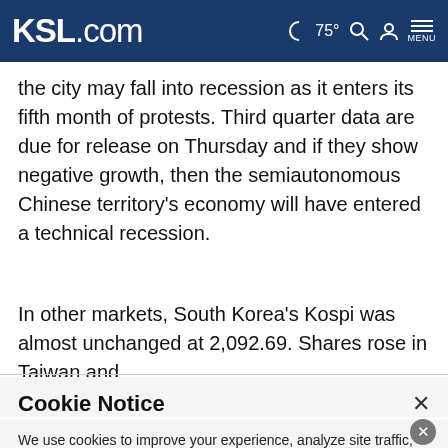KSL.com  75° [search] [account] MENU
the city may fall into recession as it enters its fifth month of protests. Third quarter data are due for release on Thursday and if they show negative growth, then the semiautonomous Chinese territory's economy will have entered a technical recession.
In other markets, South Korea's Kospi was almost unchanged at 2,092.69. Shares rose in Taiwan and
Cookie Notice
We use cookies to improve your experience, analyze site traffic, and to personalize content and ads. By continuing to use our site, you consent to our use of cookies. Please visit our Terms of Use and  Privacy Policy for more information